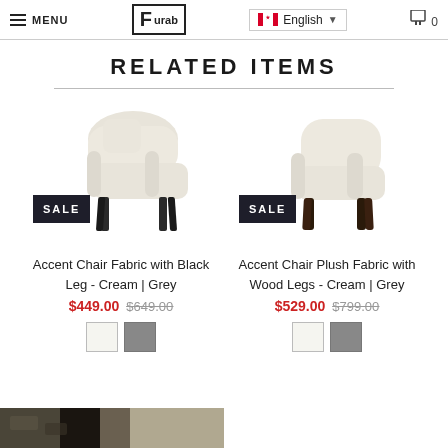MENU | Furab | English | 0
RELATED ITEMS
[Figure (photo): Accent chair with cream fabric and black metal legs, with SALE badge overlay]
Accent Chair Fabric with Black Leg - Cream | Grey
$449.00 $649.00
[Figure (photo): Accent chair with cream plush fabric and wood legs, with SALE badge overlay]
Accent Chair Plush Fabric with Wood Legs - Cream | Grey
$529.00 $799.00
[Figure (photo): Partial view of outdoor furniture or garden image at bottom of page]